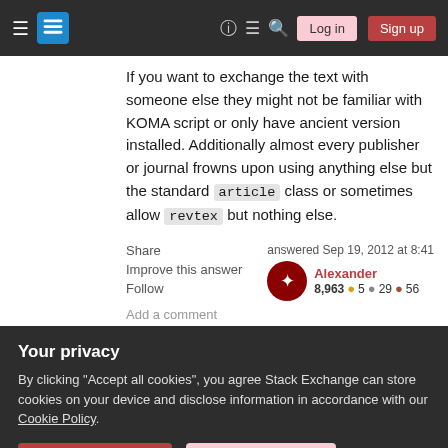Stack Exchange site header with logo, navigation icons, Log in, Sign up buttons
If you want to exchange the text with someone else they might not be familiar with KOMA script or only have ancient version installed. Additionally almost every publisher or journal frowns upon using anything else but the standard article class or sometimes allow revtex but nothing else.
Share
Improve this answer
Follow
answered Sep 19, 2012 at 8:41
Alexander
8,963 ● 5 ● 29 ● 56
Add a comment
Your privacy
By clicking "Accept all cookies", you agree Stack Exchange can store cookies on your device and disclose information in accordance with our Cookie Policy.
Accept all cookies
Customize settings